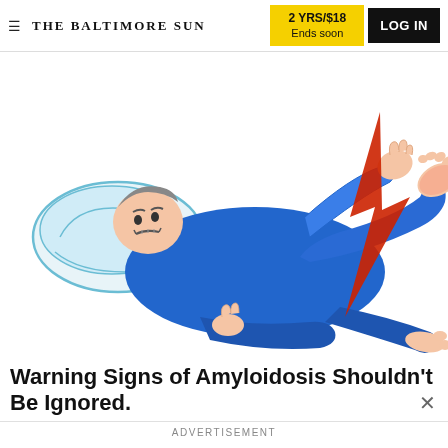≡ THE BALTIMORE SUN | 2 YRS/$18 Ends soon | LOG IN
[Figure (illustration): Illustration of a person lying on a pillow in blue pajamas experiencing leg/foot pain, with a red lightning bolt indicating pain at the foot/ankle area.]
Warning Signs of Amyloidosis Shouldn't Be Ignored.
ADVERTISEMENT